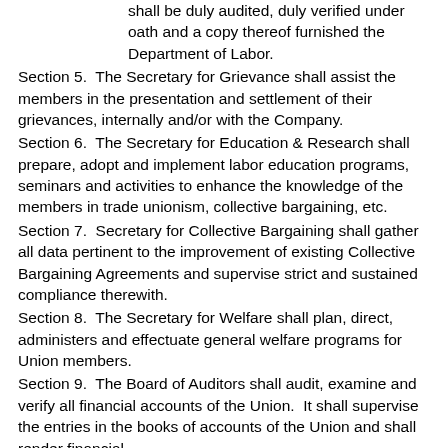shall be duly audited, duly verified under oath and a copy thereof furnished the Department of Labor.
Section 5.  The Secretary for Grievance shall assist the members in the presentation and settlement of their  grievances, internally and/or with the Company.
Section 6.  The Secretary for Education & Research shall prepare, adopt and implement labor education programs, seminars and activities to enhance the knowledge of the members in trade unionism, collective bargaining, etc.
Section 7.  Secretary for Collective Bargaining shall gather all data pertinent to the improvement of existing Collective Bargaining Agreements and supervise strict and sustained compliance therewith.
Section 8.  The Secretary for Welfare shall plan, direct, administers and effectuate general welfare programs for Union members.
Section 9.  The Board of Auditors shall audit, examine and verify all financial accounts of the Union.  It shall supervise the entries in the books of accounts of the Union and shall render financial